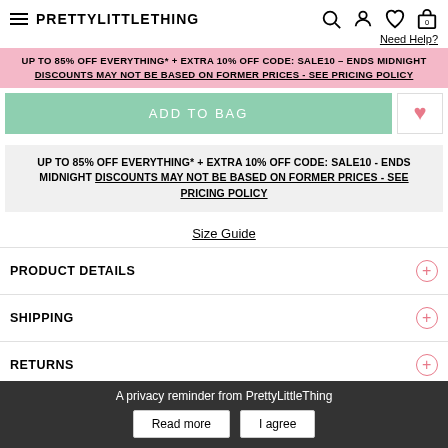PRETTYLITTLETHING
Need Help?
UP TO 85% OFF EVERYTHING* + EXTRA 10% OFF CODE: SALE10 - ENDS MIDNIGHT DISCOUNTS MAY NOT BE BASED ON FORMER PRICES - SEE PRICING POLICY
ADD TO BAG
UP TO 85% OFF EVERYTHING* + EXTRA 10% OFF CODE: SALE10 - ENDS MIDNIGHT DISCOUNTS MAY NOT BE BASED ON FORMER PRICES - SEE PRICING POLICY
Size Guide
PRODUCT DETAILS
SHIPPING
RETURNS
A privacy reminder from PrettyLittleThing
Read more
I agree